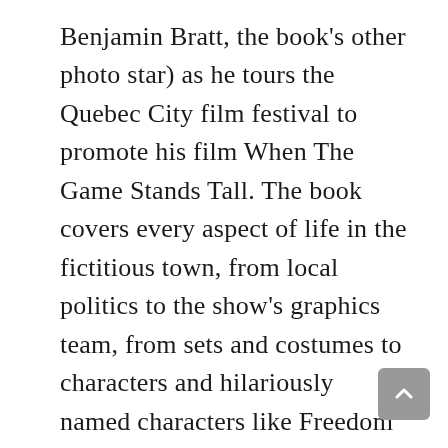Benjamin Bratt, the book's other photo star) as he tours the Quebec City film festival to promote his film When The Game Stands Tall. The book covers every aspect of life in the fictitious town, from local politics to the show's graphics team, from sets and costumes to characters and hilariously named characters like Freedom Townsend and Cockroach.
Without doubt, this is the book for a pot of java on a scorching day, or for a decidedly kindhearted book club on a July afternoon. And with the release of Schitt's Creek: A